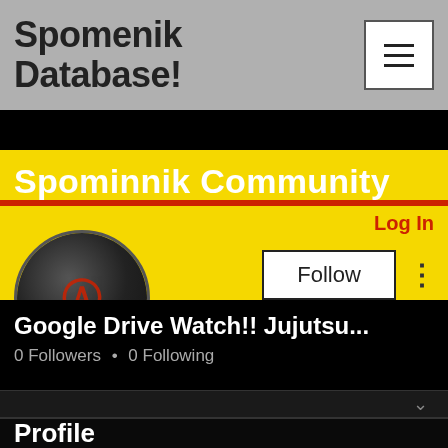Spomenik Database!
Spominnik Community
Log In
Follow
[Figure (photo): Circular avatar image with dark illustration featuring a red symbol on dark background]
Google Drive Watch!! Jujutsu...
0 Followers • 0 Following
Profile